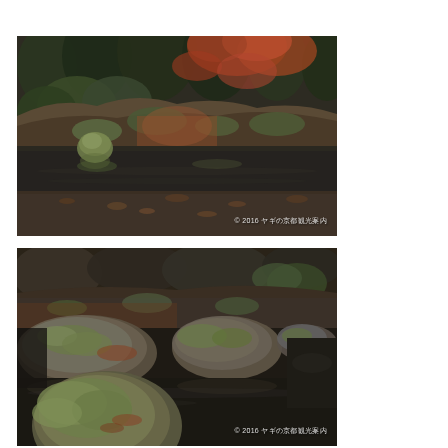[Figure (photo): Japanese garden scene with moss-covered rocks, a reflective pond, autumn foliage with red and green leaves, and a mossy round stone in the water. Watermark: © 2016 ヤギの京都観光案内]
[Figure (photo): Japanese garden close-up with large moss-covered stepping stones over dark reflective water, green moss and fallen leaves visible. Watermark: © 2016 ヤギの京都観光案内]